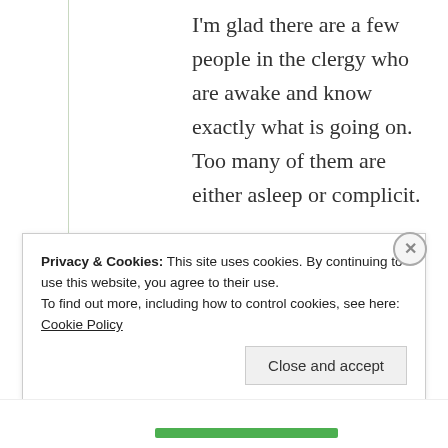I'm glad there are a few people in the clergy who are awake and know exactly what is going on. Too many of them are either asleep or complicit.
★ Liked by 3 people
↳ Reply
Privacy & Cookies: This site uses cookies. By continuing to use this website, you agree to their use. To find out more, including how to control cookies, see here: Cookie Policy
Close and accept